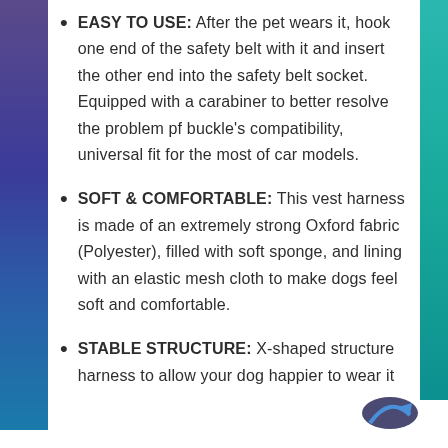EASY TO USE: After the pet wears it, hook one end of the safety belt with it and insert the other end into the safety belt socket. Equipped with a carabiner to better resolve the problem pf buckle's compatibility, universal fit for the most of car models.
SOFT & COMFORTABLE: This vest harness is made of an extremely strong Oxford fabric (Polyester), filled with soft sponge, and lining with an elastic mesh cloth to make dogs feel soft and comfortable.
STABLE STRUCTURE: X-shaped structure harness to allow your dog happier to wear it